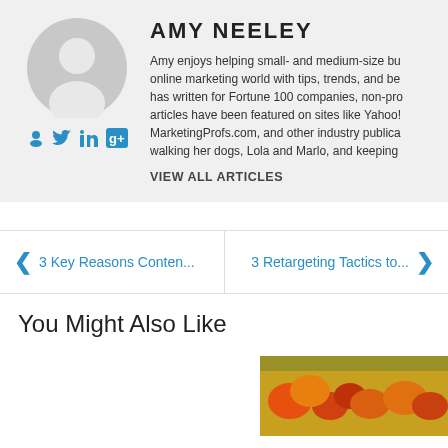AMY NEELEY
Amy enjoys helping small- and medium-size businesses navigate the online marketing world with tips, trends, and best practices. She has written for Fortune 100 companies, non-profits, and startups. Her articles have been featured on sites like Yahoo!, Entrepreneur.com, MarketingProfs.com, and other industry publications. When not writing, walking her dogs, Lola and Marlo, and keeping
VIEW ALL ARTICLES
3 Key Reasons Conten...
3 Retargeting Tactics to...
You Might Also Like
[Figure (photo): Partially visible thumbnail image at bottom right, showing food/produce items]